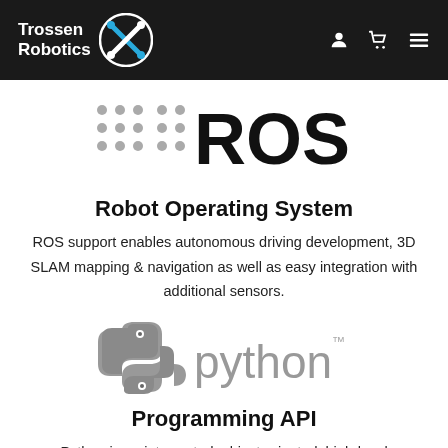[Figure (logo): Trossen Robotics logo with white text and circular robot icon, navigation header with user, cart, and menu icons on dark background]
[Figure (logo): ROS (Robot Operating System) logo with dot-grid pattern and large ROS text]
Robot Operating System
ROS support enables autonomous driving development, 3D SLAM mapping & navigation as well as easy integration with additional sensors.
[Figure (logo): Python programming language logo in gray with snake icon and 'python™' text]
Programming API
Python is an interpreted, object-oriented, high-level programming language with dynamic semanticstask